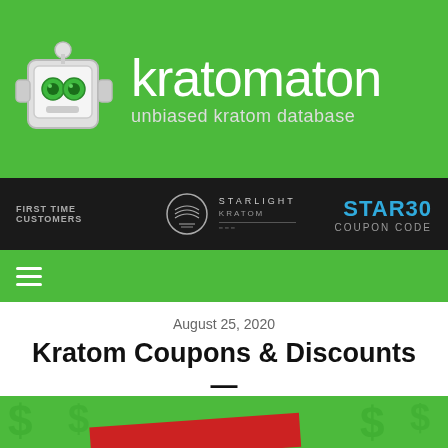[Figure (logo): Kratomaton website header with robot logo and site name 'kratomaton — unbiased kratom database' on green background]
[Figure (infographic): Dark advertisement banner for Starlight Kratom showing 'FIRST TIME CUSTOMERS', Starlight Kratom circular logo, and STAR30 COUPON CODE in blue text]
[Figure (screenshot): Green navigation bar with hamburger menu icon (three white horizontal lines)]
August 25, 2020
Kratom Coupons & Discounts — Week of August 24th, 2020
[Figure (photo): Partial green-background featured image with dollar sign pattern and red diagonal banner element visible at bottom]